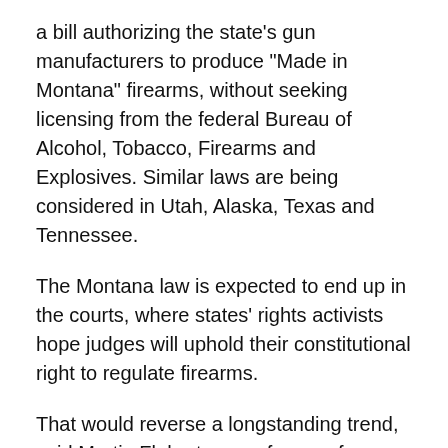a bill authorizing the state's gun manufacturers to produce "Made in Montana" firearms, without seeking licensing from the federal Bureau of Alcohol, Tobacco, Firearms and Explosives. Similar laws are being considered in Utah, Alaska, Texas and Tennessee.
The Montana law is expected to end up in the courts, where states' rights activists hope judges will uphold their constitutional right to regulate firearms.
That would reverse a longstanding trend, said Martin Flaherty, a professor of constitutional law at Fordham Law School.
"From 1937 to 1995 there is not one instance of the Supreme Court knocking back Congress," he said. "In the Constitution the interstate commerce clause gives Congress the right to regulate commerce between the states. That gives them a lot of power. There were